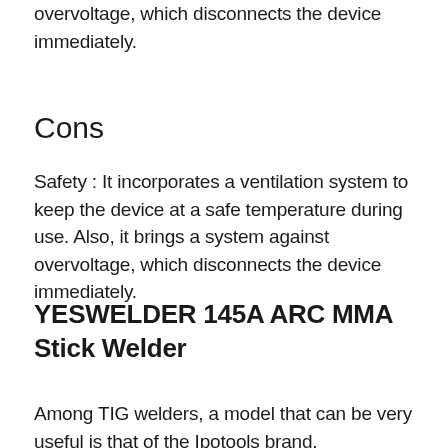overvoltage, which disconnects the device immediately.
Cons
Safety : It incorporates a ventilation system to keep the device at a safe temperature during use. Also, it brings a system against overvoltage, which disconnects the device immediately.
YESWELDER 145A ARC MMA Stick Welder
Among TIG welders, a model that can be very useful is that of the Ipotools brand.